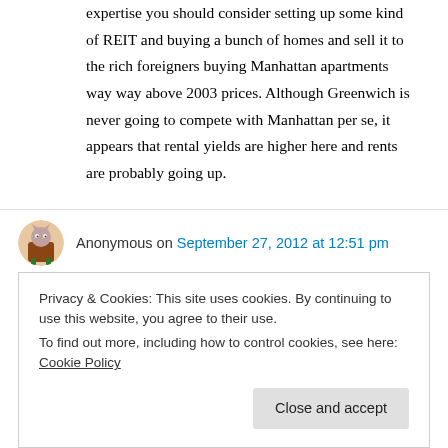expertise you should consider setting up some kind of REIT and buying a bunch of homes and sell it to the rich foreigners buying Manhattan apartments way way above 2003 prices. Although Greenwich is never going to compete with Manhattan per se, it appears that rental yields are higher here and rents are probably going up.
Anonymous on September 27, 2012 at 12:51 pm
Privacy & Cookies: This site uses cookies. By continuing to use this website, you agree to their use. To find out more, including how to control cookies, see here: Cookie Policy
Why is that? The difference in student loan debt